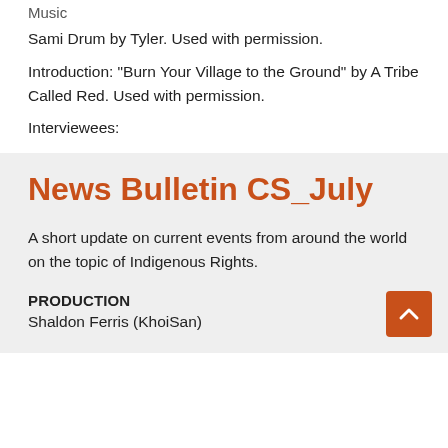Music
Sami Drum by Tyler. Used with permission.
Introduction: "Burn Your Village to the Ground" by A Tribe Called Red. Used with permission.
Interviewees:
News Bulletin CS_July
A short update on current events from around the world on the topic of Indigenous Rights.
PRODUCTION
Shaldon Ferris (KhoiSan)